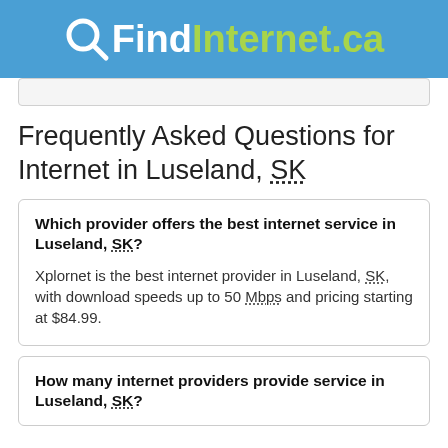QFindInternet.ca
Frequently Asked Questions for Internet in Luseland, SK
Which provider offers the best internet service in Luseland, SK?
Xplornet is the best internet provider in Luseland, SK, with download speeds up to 50 Mbps and pricing starting at $84.99.
How many internet providers provide service in Luseland, SK?